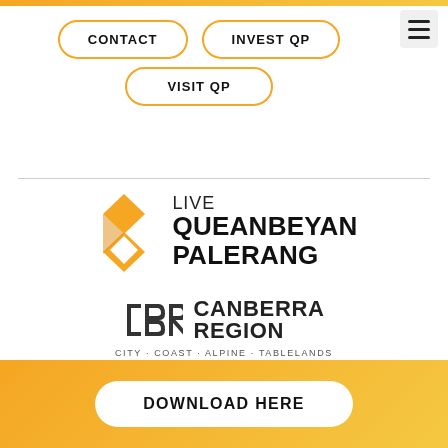CONTACT
INVEST QP
VISIT QP
[Figure (logo): Live Queanbeyan Palerang logo with orange diamond/chevron icon]
[Figure (logo): Canberra Region CBR logo with geometric CBR icon. Tagline: CITY · COAST · ALPINE · TABLELANDS]
DOWNLOAD HERE